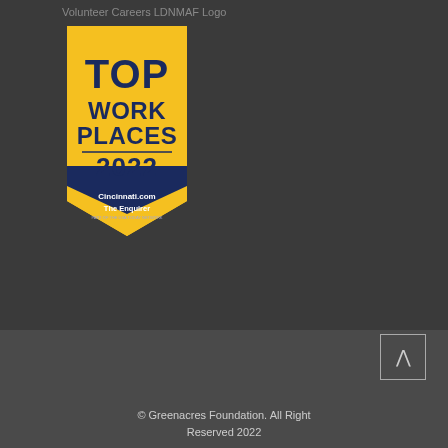Volunteer Careers LDNMAF Logo
[Figure (logo): Top Work Places 2022 badge/logo. Yellow ribbon-style badge with dark navy text reading TOP WORK PLACES 2022, with a dark navy chevron/triangle at the bottom. Below reads Cincinnati.com and The Enquirer.]
© Greenacres Foundation. All Right Reserved 2022